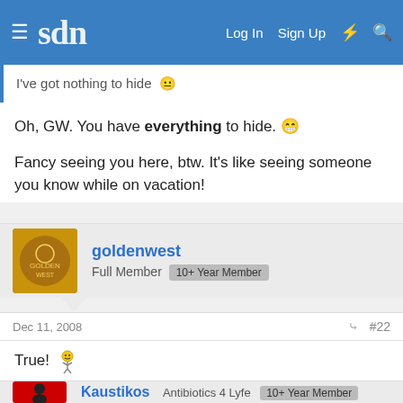sdn  Log In  Sign Up
I've got nothing to hide
Oh, GW. You have everything to hide. 😁
Fancy seeing you here, btw. It's like seeing someone you know while on vacation!
goldenwest
Full Member  10+ Year Member
Dec 11, 2008  #22
True! 🙂
Kaustikos
Antibiotics 4 Lyfe  10+ Year Member